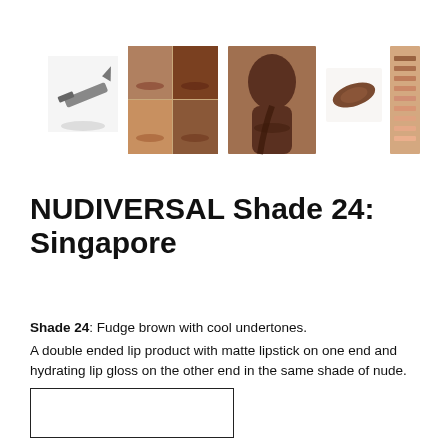[Figure (photo): Five product images in a row: a lipstick/lip liner pencil sketch, a collage of four women's faces showing lips in brown nude shades, a portrait of a dark-skinned woman, a brown swatch stroke on white background, and an arm with multiple nude lip shade swatches.]
NUDIVERSAL Shade 24: Singapore
Shade 24: Fudge brown with cool undertones.
A double ended lip product with matte lipstick on one end and hydrating lip gloss on the other end in the same shade of nude.
[Figure (other): Empty white rectangle with black border, likely a shade/color swatch box.]
Please note, for the best results ensure that you are in